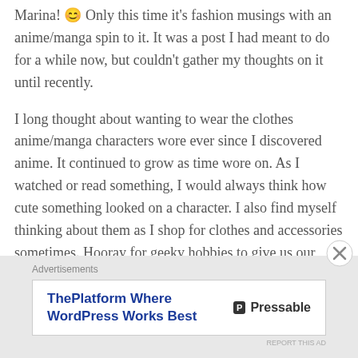Marina! 😊 Only this time it's fashion musings with an anime/manga spin to it. It was a post I had meant to do for a while now, but couldn't gather my thoughts on it until recently.
I long thought about wanting to wear the clothes anime/manga characters wore ever since I discovered anime. It continued to grow as time wore on. As I watched or read something, I would always think how cute something looked on a character. I also find myself thinking about them as I shop for clothes and accessories sometimes. Hooray for geeky hobbies to give us our fashion fix!
Advertisements
[Figure (other): Pressable advertisement banner: 'ThePlatform Where WordPress Works Best' with Pressable logo on the right]